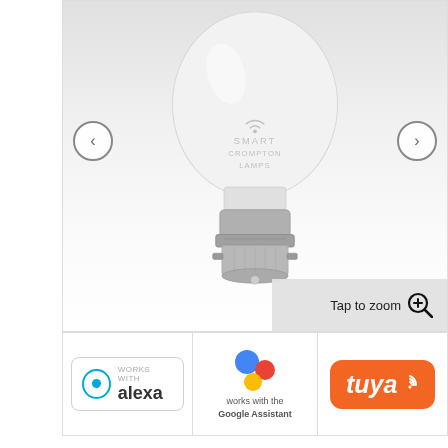[Figure (photo): Smart LED light bulb (GLS shape) with bayonet cap, branded 'Smart Crompton Lamps', displayed on white/grey gradient background with left and right navigation arrows and a 'Tap to zoom' overlay.]
[Figure (logo): Three logos side by side: 'Works with Alexa' badge, 'Works with the Google Assistant' badge, and 'tuya' orange brand badge.]
Crompton Lamps LED Smart GLS